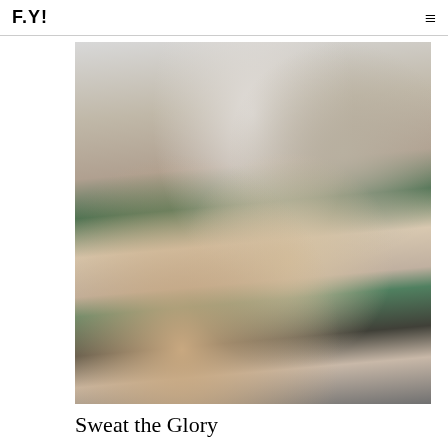F.Y!
[Figure (photo): Low-angle photograph of a shirtless athletic man pouring water over himself outdoors, with green trees and metal railings visible in the background, another shirtless figure in the foreground blur.]
Sweat the Glory